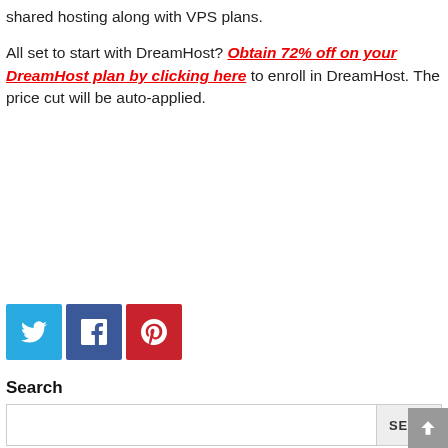shared hosting along with VPS plans.

All set to start with DreamHost? Obtain 72% off on your DreamHost plan by clicking here to enroll in DreamHost. The price cut will be auto-applied.
[Figure (other): Three social sharing buttons: Twitter (blue), Facebook (dark blue), Pinterest (red)]
Search
SEARCH input field with button